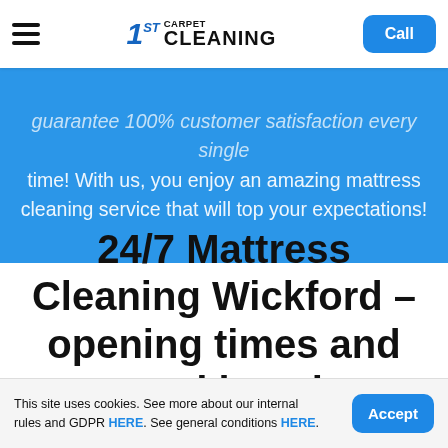1ST CARPET CLEANING — navigation bar with hamburger menu and Call button
guarantee 100% customer satisfaction every single time! With us, you enjoy an amazing mattress cleaning service that will top your expectations!
24/7 Mattress Cleaning Wickford – opening times and covered locations
This site uses cookies. See more about our internal rules and GDPR HERE. See general conditions HERE.